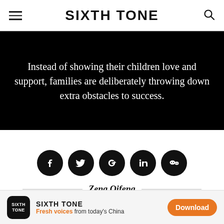SIXTH TONE
Instead of showing their children love and support, families are deliberately throwing down extra obstacles to success.
[Figure (infographic): Row of five social media icon circles: Facebook, Twitter, Google+, LinkedIn, WeChat]
Zeng Qifeng
Oct 31, 2017  |  6-min read  |  Voices
SIXTH TONE — Fresh voices from today's China — Download